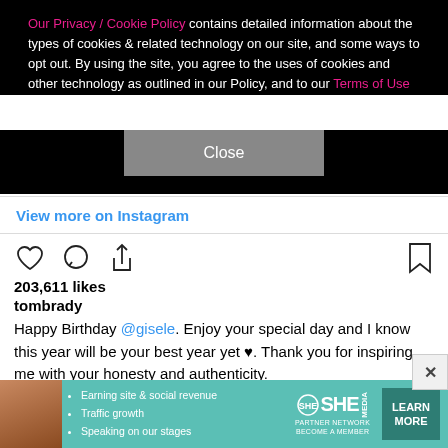Our Privacy / Cookie Policy contains detailed information about the types of cookies & related technology on our site, and some ways to opt out. By using the site, you agree to the uses of cookies and other technology as outlined in our Policy, and to our Terms of Use
Close
View more on Instagram
203,611 likes
tombrady
Happy Birthday @gisele. Enjoy your special day and I know this year will be your best year yet ♥. Thank you for inspiring me with your honesty and authenticity.
view all 1,919 comments
[Figure (infographic): SHE Partner Network ad banner with person photo, bullet points about earning site & social revenue, traffic growth, speaking on stages, SHE logo, and LEARN MORE button]